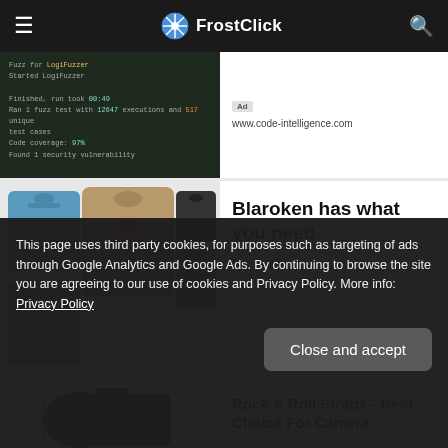FrostClick
[Figure (screenshot): Dark terminal/code editor screenshot showing log fuzzer output with highlighted code lines]
Ad  www.code-intelligence.com
[Figure (photo): Men's clothing items including a blue polo shirt, a tan crusader-print long sleeve shirt, and graphic t-shirts]
Blaroken has what you need
Ad  Blaroken Men's Store
[Figure (photo): DSLR camera with large telephoto lens on white background]
Rock & Roll Straps - Best Choice For Camera
This page uses third party cookies, for purposes such as targeting of ads through Google Analytics and Google Ads. By continuing to browse the site you are agreeing to our use of cookies and Privacy Policy. More info: Privacy Policy